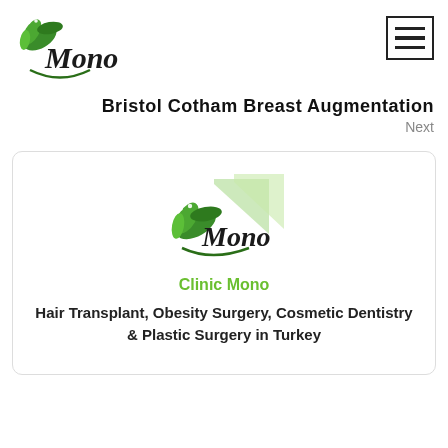[Figure (logo): Mono clinic logo with green leaves and cursive Mono text]
[Figure (other): Hamburger menu icon with three horizontal lines in a bordered box]
Bristol Cotham Breast Augmentation
Next
[Figure (logo): Clinic Mono logo inside card — green leaf background with cursive Mono text]
Clinic Mono
Hair Transplant, Obesity Surgery, Cosmetic Dentistry & Plastic Surgery in Turkey